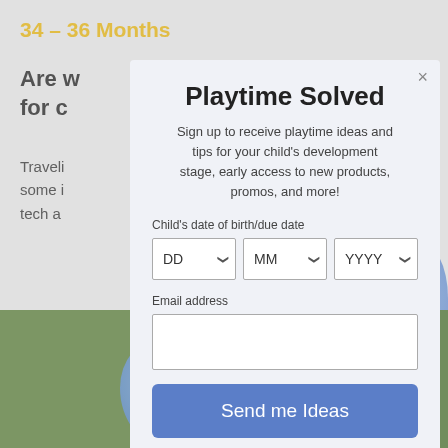34 – 36 Months
Are w[...] nes
for c[...]
Traveli[...] are
some i[...] or
tech a[...] ngers.
Playtime Solved
Sign up to receive playtime ideas and tips for your child's development stage, early access to new products, promos, and more!
Child's date of birth/due date
DD | MM | YYYY (dropdown selectors)
Email address
Send me Ideas